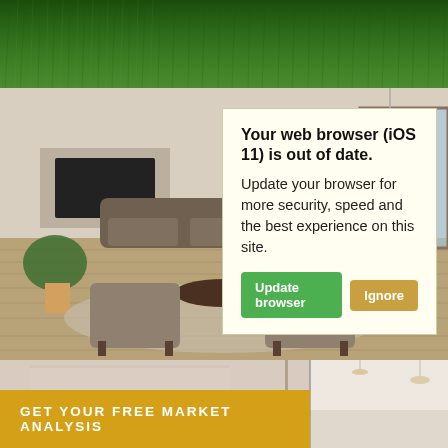[Figure (photo): Green grass viewed from above (top of page)]
[Figure (photo): Interior living room with chairs, sofa, fireplace, plants, and rugs]
Your web browser (iOS 11) is out of date. Update your browser for more security, speed and the best experience on this site.
Update browser
Ignore
[Figure (photo): Bottom portion — interior home photos, split view]
GET YOUR FREE MARKET ANALYSIS